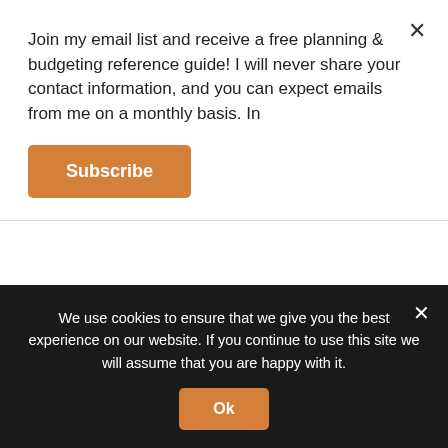Join my email list and receive a free planning & budgeting reference guide! I will never share your contact information, and you can expect emails from me on a monthly basis. In
Subscribe
expected to do Zoom school 50% of the time without any other adult help and actually learn something. I don't want to quit my job. But where am I supposed to find a nanny that is also a tutor? All the
We use cookies to ensure that we give you the best experience on our website. If you continue to use this site we will assume that you are happy with it.
Ok